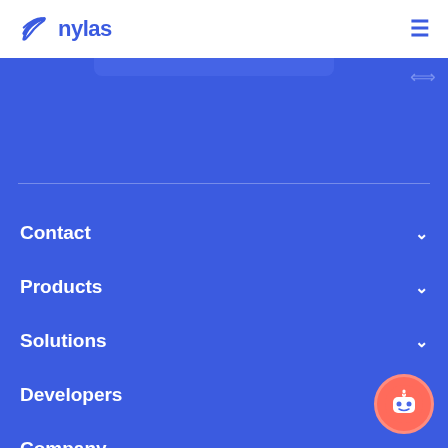Nylas
Contact
Products
Solutions
Developers
Company